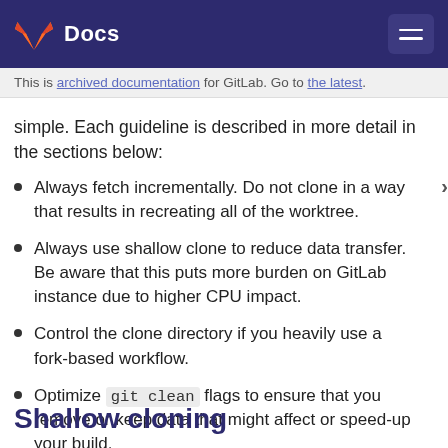Docs
This is archived documentation for GitLab. Go to the latest.
simple. Each guideline is described in more detail in the sections below:
Always fetch incrementally. Do not clone in a way that results in recreating all of the worktree.
Always use shallow clone to reduce data transfer. Be aware that this puts more burden on GitLab instance due to higher CPU impact.
Control the clone directory if you heavily use a fork-based workflow.
Optimize git clean flags to ensure that you remove or keep data that might affect or speed-up your build.
Shallow cloning